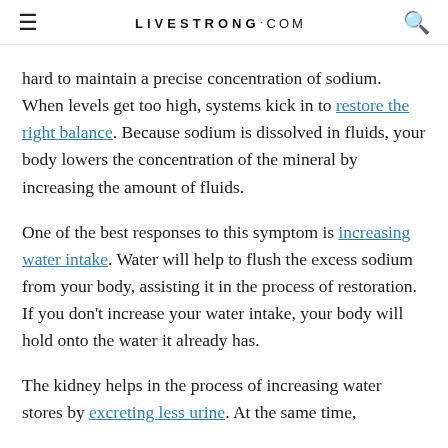LIVESTRONG.COM
hard to maintain a precise concentration of sodium. When levels get too high, systems kick in to restore the right balance. Because sodium is dissolved in fluids, your body lowers the concentration of the mineral by increasing the amount of fluids.
One of the best responses to this symptom is increasing water intake. Water will help to flush the excess sodium from your body, assisting it in the process of restoration. If you don't increase your water intake, your body will hold onto the water it already has.
The kidney helps in the process of increasing water stores by excreting less urine. At the same time,